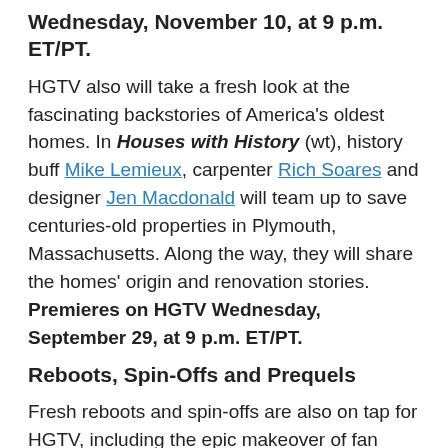Wednesday, November 10, at 9 p.m. ET/PT.
HGTV also will take a fresh look at the fascinating backstories of America's oldest homes. In Houses with History (wt), history buff Mike Lemieux, carpenter Rich Soares and designer Jen Macdonald will team up to save centuries-old properties in Plymouth, Massachusetts. Along the way, they will share the homes' origin and renovation stories. Premieres on HGTV Wednesday, September 29, at 9 p.m. ET/PT.
Reboots, Spin-Offs and Prequels
Fresh reboots and spin-offs are also on tap for HGTV, including the epic makeover of fan favorite series Curb Appeal. Curb Appeal Xtreme, the spin-off series, will combine the architectural and design savvy of John Gidding, the horticulture and landscape design genius of Jamie Durie, and the custom